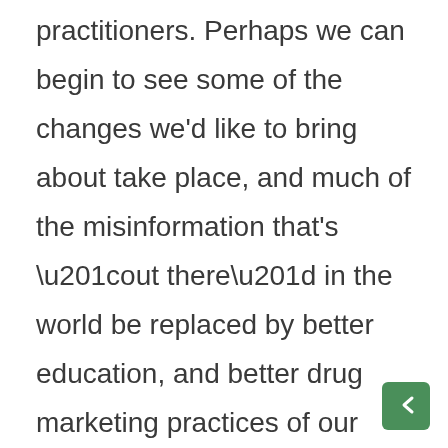practitioners. Perhaps we can begin to see some of the changes we'd like to bring about take place, and much of the misinformation that's “out there” in the world be replaced by better education, and better drug marketing practices of our remedies and methods. Bans on certain remedies serve no purpose for homeopaths or their patients: if public safety were really the concern, we'd see information dissemination become a priority before any ban on substances